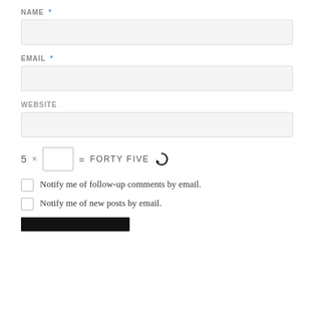NAME *
[Figure (other): Empty text input field for NAME]
EMAIL *
[Figure (other): Empty text input field for EMAIL]
WEBSITE
[Figure (other): Empty text input field for WEBSITE]
5 × [  ] = FORTY FIVE  ↺
Notify me of follow-up comments by email.
Notify me of new posts by email.
[Figure (other): Submit button (dark/black bar)]